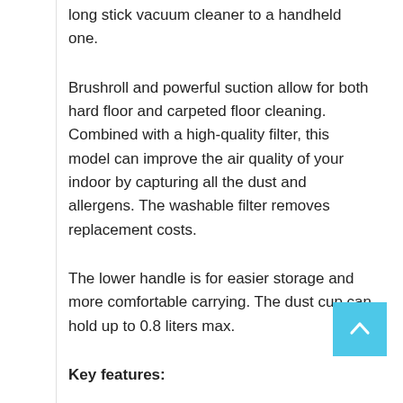long stick vacuum cleaner to a handheld one.
Brushroll and powerful suction allow for both hard floor and carpeted floor cleaning. Combined with a high-quality filter, this model can improve the air quality of your indoor by capturing all the dust and allergens. The washable filter removes replacement costs.
The lower handle is for easier storage and more comfortable carrying. The dust cup can hold up to 0.8 liters max.
Key features:
2-in-1 machine – Compact, elegant design with the on-board crevice tool